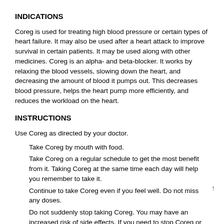INDICATIONS
Coreg is used for treating high blood pressure or certain types of heart failure. It may also be used after a heart attack to improve survival in certain patients. It may be used along with other medicines. Coreg is an alpha- and beta-blocker. It works by relaxing the blood vessels, slowing down the heart, and decreasing the amount of blood it pumps out. This decreases blood pressure, helps the heart pump more efficiently, and reduces the workload on the heart.
INSTRUCTIONS
Use Coreg as directed by your doctor.
Take Coreg by mouth with food.
Take Coreg on a regular schedule to get the most benefit from it. Taking Coreg at the same time each day will help you remember to take it.
Continue to take Coreg even if you feel well. Do not miss any doses.
Do not suddenly stop taking Coreg. You may have an increased risk of side effects. If you need to stop Coreg or add a new medicine, your doctor will gradually lower your dose.
If you miss a dose of Coreg, take it as soon as possible. If it is time for your next dose, skip the missed dose and go back to your regular dosing schedule. Do not take 2 doses at once.
Ask your health care provider any questions you may have about how to